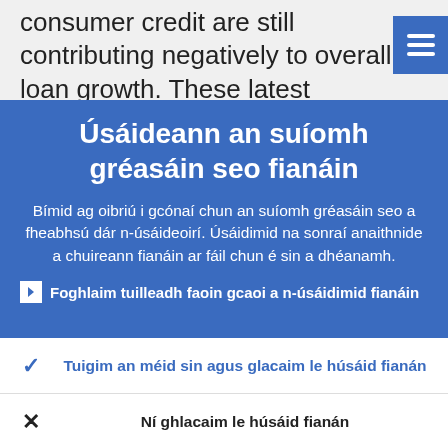consumer credit are still contributing negatively to overall loan growth. These latest developments in loans to househol
Úsáideann an suíomh gréasáin seo fianáin
Bímid ag oibriú i gcónaí chun an suíomh gréasáin seo a fheabhsú dár n-úsáideoirí. Úsáidimid na sonraí anaithnide a chuireann fianáin ar fáil chun é sin a dhéanamh.
Foghlaim tuilleadh faoin gcaoi a n-úsáidimid fianáin
Tuigim an méid sin agus glacaim le húsáid fianán
Ní ghlacaim le húsáid fianán